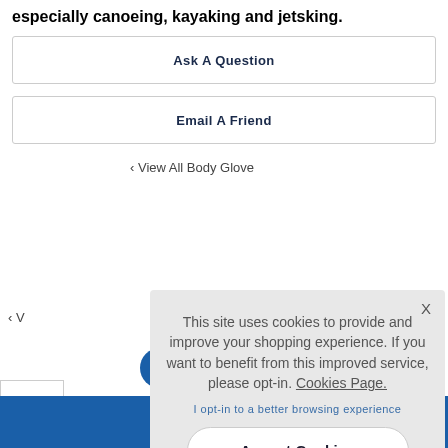especially canoeing, kayaking and jetsking.
Ask A Question
Email A Friend
‹ View All Body Glove
‹ V
^ TOP
This site uses cookies to provide and improve your shopping experience. If you want to benefit from this improved service, please opt-in. Cookies Page.
I opt-in to a better browsing experience
Accept Cookies